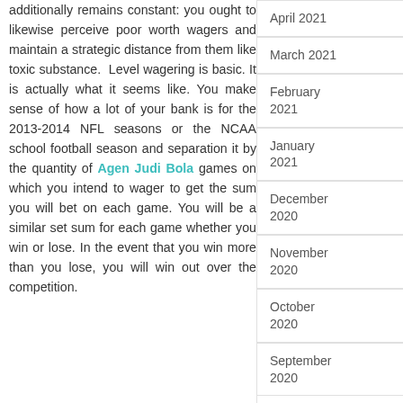additionally remains constant: you ought to likewise perceive poor worth wagers and maintain a strategic distance from them like toxic substance. Level wagering is basic. It is actually what it seems like. You make sense of how a lot of your bank is for the 2013-2014 NFL seasons or the NCAA school football season and separation it by the quantity of Agen Judi Bola games on which you intend to wager to get the sum you will bet on each game. You will be a similar set sum for each game whether you win or lose. In the event that you win more than you lose, you will win out over the competition.
April 2021
March 2021
February 2021
January 2021
December 2020
November 2020
October 2020
September 2020